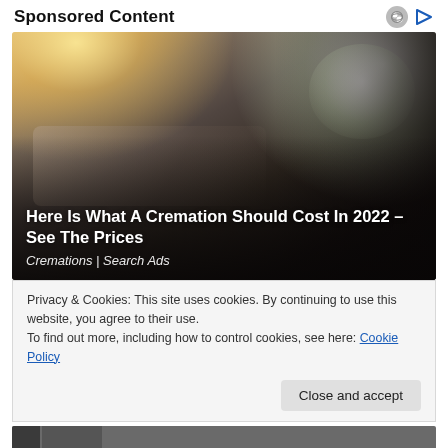Sponsored Content
[Figure (photo): A funeral scene showing hands touching a casket with white lily flowers, backlit by warm sunlight. Overlaid text reads: 'Here Is What A Cremation Should Cost In 2022 – See The Prices' and 'Cremations | Search Ads']
Privacy & Cookies: This site uses cookies. By continuing to use this website, you agree to their use.
To find out more, including how to control cookies, see here: Cookie Policy
Close and accept